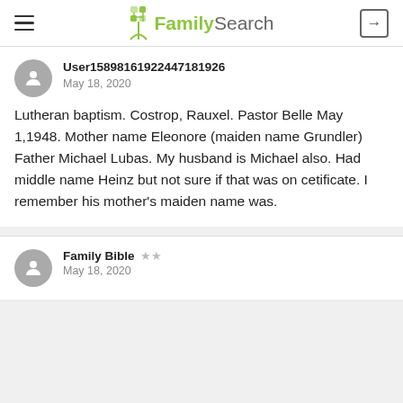FamilySearch
User15898161922447181926
May 18, 2020
Lutheran baptism. Costrop, Rauxel. Pastor Belle May 1,1948. Mother name Eleonore (maiden name Grundler) Father Michael Lubas. My husband is Michael also. Had middle name Heinz but not sure if that was on cetificate. I remember his mother's maiden name was.
Family Bible ★★
May 18, 2020